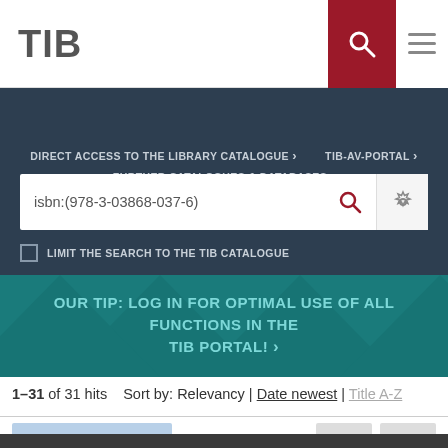TIB
DIRECT ACCESS TO THE LIBRARY CATALOGUE
TIB-AV-PORTAL
FURTHER CATALOGUES & DATABASES
isbn:(978-3-03868-037-6)
LIMIT THE SEARCH TO THE TIB CATALOGUE
OUR TIP: LOG IN FOR OPTIMAL USE OF ALL FUNCTIONS IN THE TIB PORTAL!
1–31 of 31 hits    Sort by: Relevancy | Date newest | Title A-Z